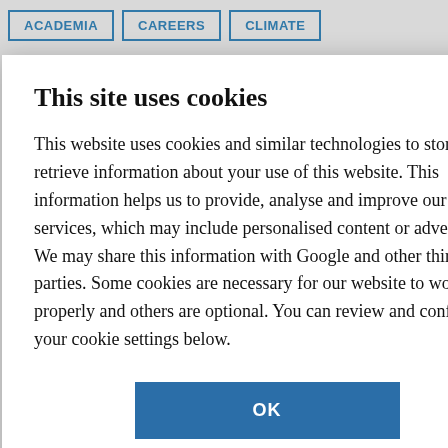ACADEMIA | CAREERS | CLIMATE
This site uses cookies
This website uses cookies and similar technologies to store and retrieve information about your use of this website. This information helps us to provide, analyse and improve our services, which may include personalised content or advertising. We may share this information with Google and other third parties. Some cookies are necessary for our website to work properly and others are optional. You can review and configure your cookie settings below.
OK
COOKIE SETTINGS